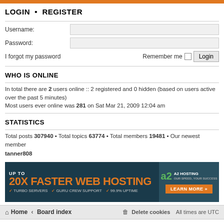LOGIN • REGISTER
Username:
Password:
I forgot my password   Remember me  Login
WHO IS ONLINE
In total there are 2 users online :: 2 registered and 0 hidden (based on users active over the past 5 minutes)
Most users ever online was 281 on Sat Mar 21, 2009 12:04 am
STATISTICS
Total posts 307940 • Total topics 63774 • Total members 19481 • Our newest member tanner808
[Figure (infographic): A2 Hosting advertisement banner: UP TO 20X FASTER WEB HOSTING with checkmarks for TURBO SERVERS, GURU CREW SUPPORT, 99.9% UPTIME. Learn More button on right side.]
Home · Board index   Delete cookies  All times are UTC
Powered by phpBB® Forum Software © phpBB Limited
Privacy | Terms